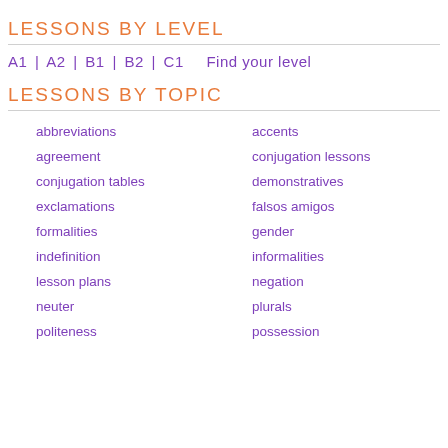LESSONS BY LEVEL
A1 | A2 | B1 | B2 | C1    Find your level
LESSONS BY TOPIC
abbreviations
accents
agreement
conjugation lessons
conjugation tables
demonstratives
exclamations
falsos amigos
formalities
gender
indefinition
informalities
lesson plans
negation
neuter
plurals
politeness
possession